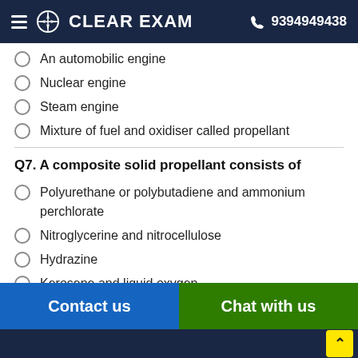CLEAR EXAM   9394949438
An automobilic engine
Nuclear engine
Steam engine
Mixture of fuel and oxidiser called propellant
Q7. A composite solid propellant consists of
Polyurethane or polybutadiene and ammonium perchlorate
Nitroglycerine and nitrocellulose
Hydrazine
Kerosene and liquid oxygen
Q8. Which of the following is used as an oxidiser in rocket
Contact us   Chat with us